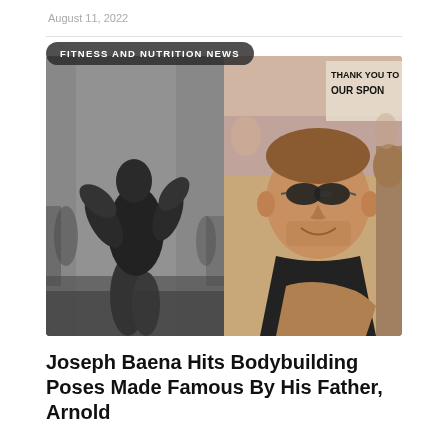August 11, 2022
[Figure (photo): Two-panel image: left panel is a black and white photo of a muscular young man hitting a bodybuilding pose in a gym; right panel is a color photo of Arnold Schwarzenegger wearing sunglasses smiling with another person at an outdoor event, with a sign reading 'THANK YOU TO OUR SPONSORS' visible in background.]
FITNESS AND NUTRITION NEWS
Joseph Baena Hits Bodybuilding Poses Made Famous By His Father, Arnold